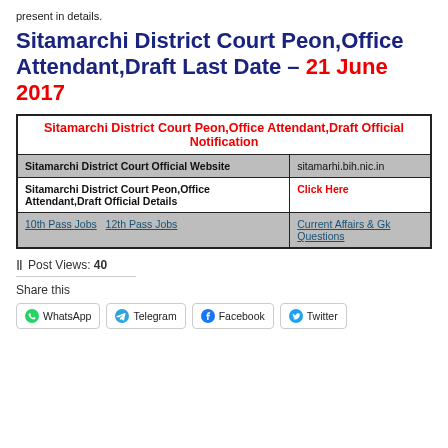present in details.
Sitamarchi District Court Peon,Office Attendant,Draft Last Date – 21 June 2017
| Sitamarchi District Court Peon,Office Attendant,Draft Official Notification |
| --- |
| Sitamarchi District Court Official Website | sitamarhi.bih.nic.in |
| Sitamarchi District Court Peon,Office Attendant,Draft Official Details | Click Here |
| 10th Pass Jobs   12th Pass Jobs | Current Affairs & Gk Questions |
Post Views: 40
Share this
WhatsApp   Telegram   Facebook   Twitter